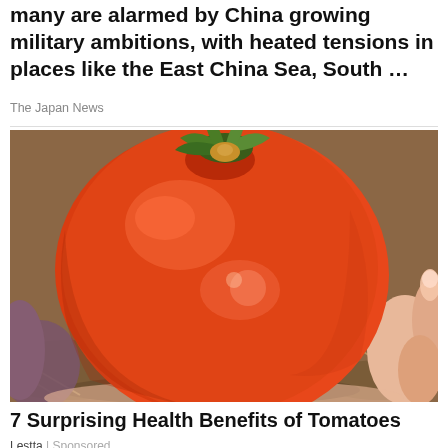many are alarmed by China growing military ambitions, with heated tensions in places like the East China Sea, South …
The Japan News
[Figure (photo): A close-up photo of a large red tomato being held in someone's hand against a brown earthy background.]
7 Surprising Health Benefits of Tomatoes
Lestta | Sponsored
[Figure (photo): Bottom portion of another article image showing a reddish-orange sunset or sky.]